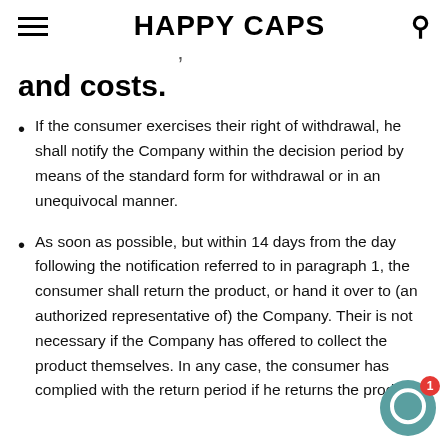HAPPY CAPS
and costs.
If the consumer exercises their right of withdrawal, he shall notify the Company within the decision period by means of the standard form for withdrawal or in an unequivocal manner.
As soon as possible, but within 14 days from the day following the notification referred to in paragraph 1, the consumer shall return the product, or hand it over to (an authorized representative of) the Company. Their is not necessary if the Company has offered to collect the product themselves. In any case, the consumer has complied with the return period if he returns the product